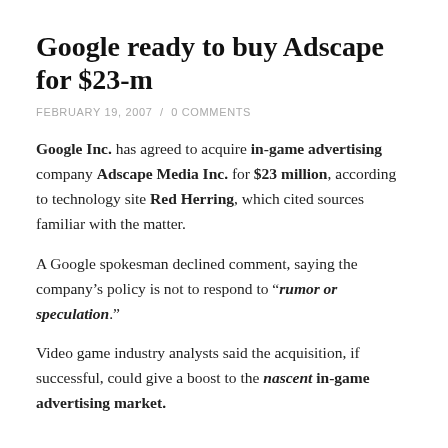Google ready to buy Adscape for $23-m
FEBRUARY 19, 2007  /  0 COMMENTS
Google Inc. has agreed to acquire in-game advertising company Adscape Media Inc. for $23 million, according to technology site Red Herring, which cited sources familiar with the matter.
A Google spokesman declined comment, saying the company's policy is not to respond to “rumor or speculation.”
Video game industry analysts said the acquisition, if successful, could give a boost to the nascent in-game advertising market.